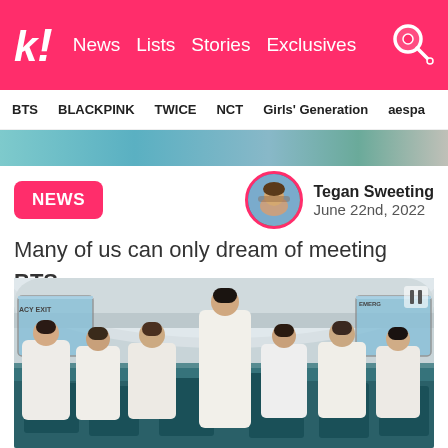k! News Lists Stories Exclusives
BTS BLACKPINK TWICE NCT Girls' Generation aespa
[Figure (photo): Cropped banner showing people, partial view]
NEWS
Tegan Sweeting June 22nd, 2022
Many of us can only dream of meeting BTS.
[Figure (photo): BTS group photo inside a school bus, members wearing white outfits, one member standing in the center aisle]